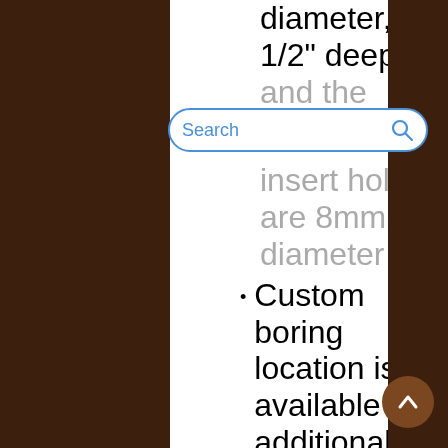diameter, 1/2" deep
and the insert holes are 8mm diameter
Custom boring location is available at additional cost per door (select custom boring option and we will contact you
[Figure (screenshot): Search bar overlay with blue border and search icon]